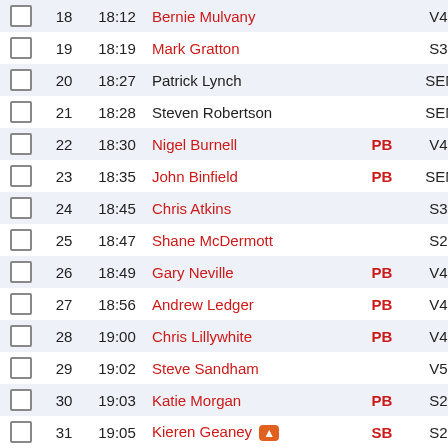|  | # | Time | Name | Badge | Cat | Sex | Club |
| --- | --- | --- | --- | --- | --- | --- | --- |
|  | 18 | 18:12 | Bernie Mulvany |  | V45 | M | Unat |
|  | 19 | 18:19 | Mark Gratton |  | S30 | M | Unat |
|  | 20 | 18:27 | Patrick Lynch |  | SEN | M | ACS |
|  | 21 | 18:28 | Steven Robertson |  | SEN | M | ACS |
|  | 22 | 18:30 | Nigel Burnell | PB | V45 | M | Veter |
|  | 23 | 18:35 | John Binfield | PB | SEN | M | St. M |
|  | 24 | 18:45 | Chris Atkins |  | S30 | M | Elmb |
|  | 25 | 18:47 | Shane McDermott |  | S25 | M | Irelan |
|  | 26 | 18:49 | Gary Neville | PB | V45 | M | SHAI |
|  | 27 | 18:56 | Andrew Ledger | PB | V40 | M | Unat |
|  | 28 | 19:00 | Chris Lillywhite | PB | V40 | M | Unat |
|  | 29 | 19:02 | Steve Sandham |  | V55 | M | Strag |
|  | 30 | 19:03 | Katie Morgan | PB | S20 | W | Unat |
|  | 31 | 19:05 | Kieren Geaney 🔥 | SB | S25 | M | Serp |
|  | 32 | 19:07 | Charlie Dolan | PB | SEN | M | Unat |
|  | 33 | 19:13 | Ed Hutchings | SB | S25 | M | Unat |
|  | 34 | 19:15 | Josh Bett |  | U18 | M | Tasis |
|  | 35 | 19:17 | Kerrie O'Connor | SB | V35 | W | Rane |
|  | 36 | 19:18 | Andrew Read |  | SEN | M | Unat |
|  | 37 | 19:18 | Edward Smith |  | U15 | M | St. M |